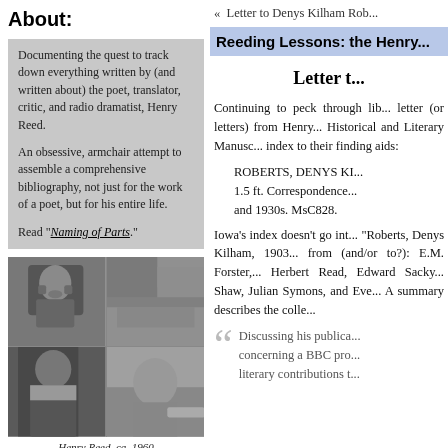About:
Documenting the quest to track down everything written by (and written about) the poet, translator, critic, and radio dramatist, Henry Reed.

An obsessive, armchair attempt to assemble a comprehensive bibliography, not just for the work of a poet, but for his entire life.

Read "Naming of Parts."
[Figure (photo): Black and white photo grid of Henry Reed, ca. 1960, showing two portrait/candid shots arranged in a 2x2 grid]
Henry Reed, ca. 1960
« Letter to Denys Kilham Rob...
Reeding Lessons: the Henry...
Letter t...
Continuing to peck through lib... letter (or letters) from Henry... Historical and Literary Manusc... index to their finding aids:
ROBERTS, DENYS KI... 1.5 ft. Correspondence... and 1930s. MsC828.
Iowa's index doesn't go int... "Roberts, Denys Kilham, 1903... from (and/or to?): E.M. Forster,... Herbert Read, Edward Sacky... Shaw, Julian Symons, and Eve... A summary describes the colle...
Discussing his publica... concerning a BBC pro... literary contributions t...